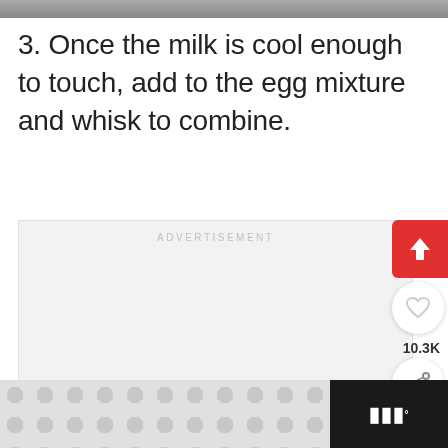[Figure (photo): Top image strip — partial photo crop at top of page]
3. Once the milk is cool enough to touch, add to the egg mixture and whisk to combine.
[Figure (other): Advertisement placeholder box with ADVERTISEMENT label and three loading dots, plus social sharing buttons (red share arrow, heart/like, 10.3K count, share icon) and a What's Next card showing 'How To Make Easy Mint...' with a green thumbnail]
[Figure (other): Bottom page footer bar with polka dot patterned banner image on dark background and a logo icon on the right]